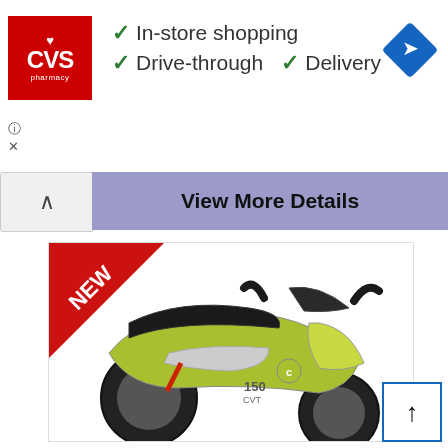[Figure (screenshot): CVS Pharmacy advertisement banner showing logo, In-store shopping, Drive-through, and Delivery checkmarks with a navigation/map icon]
In-store shopping
Drive-through  ✓  Delivery
[Figure (screenshot): Collapse/chevron up button on left and 'View More Details' button in purple/lavender background]
View More Details
[Figure (photo): Green and black scooter/moped (150 CVT) with NEW badge in top-left corner]
[Figure (other): Scroll to top button with upward arrow, blue border]